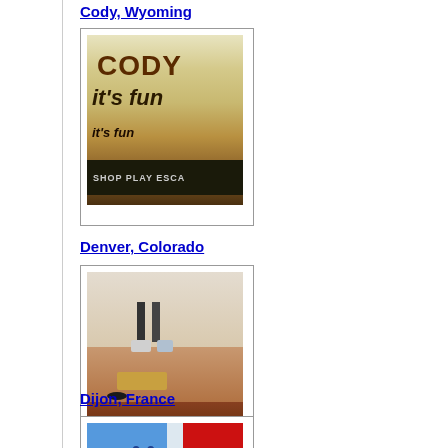Cody, Wyoming
[Figure (photo): Photo thumbnail for Cody, Wyoming showing a sign with 'CODY it's fun' text and 'SHOP PLAY ESCAPE' text]
Denver, Colorado
[Figure (photo): Photo thumbnail for Denver, Colorado showing what appears to be items on a table or counter]
Dijon, France
[Figure (photo): Photo thumbnail for Dijon, France showing a colorful sign with 'Dijon' text in blue, red and white colors]